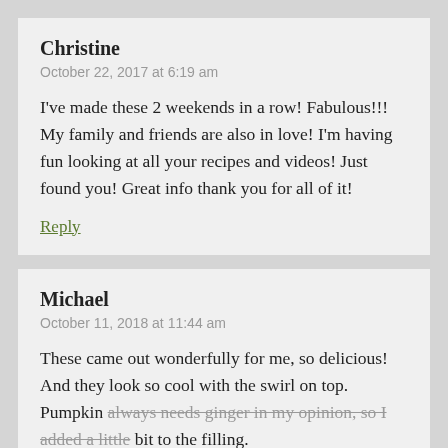Christine
October 22, 2017 at 6:19 am
I've made these 2 weekends in a row! Fabulous!!! My family and friends are also in love! I'm having fun looking at all your recipes and videos! Just found you! Great info thank you for all of it!
Reply
Michael
October 11, 2018 at 11:44 am
These came out wonderfully for me, so delicious! And they look so cool with the swirl on top. Pumpkin always needs ginger in my opinion, so I added a little bit to the filling.